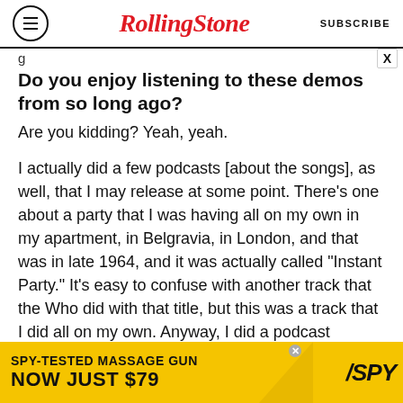Rolling Stone | SUBSCRIBE
g
Do you enjoy listening to these demos from so long ago?
Are you kidding? Yeah, yeah.
I actually did a few podcasts [about the songs], as well, that I may release at some point. There's one about a party that I was having all on my own in my apartment, in Belgravia, in London, and that was in late 1964, and it was actually called “Instant Party.” It’s easy to confuse with another track that the Who did with that title, but this was a track that I did all on my own. Anyway, I did a podcast explaining why some of the lyrics were
[Figure (infographic): Advertisement banner: SPY-TESTED MASSAGE GUN NOW JUST $79 with SPY logo on yellow background]